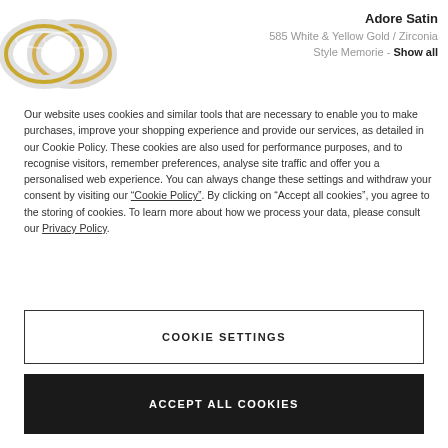[Figure (illustration): Two wedding rings — white gold with yellow gold inlay — shown overlapping at an angle]
Adore Satin
585 White & Yellow Gold / Zirconia
Style Memorie - Show all
Our website uses cookies and similar tools that are necessary to enable you to make purchases, improve your shopping experience and provide our services, as detailed in our Cookie Policy. These cookies are also used for performance purposes, and to recognise visitors, remember preferences, analyse site traffic and offer you a personalised web experience. You can always change these settings and withdraw your consent by visiting our “Cookie Policy”. By clicking on “Accept all cookies”, you agree to the storing of cookies. To learn more about how we process your data, please consult our Privacy Policy.
COOKIE SETTINGS
ACCEPT ALL COOKIES